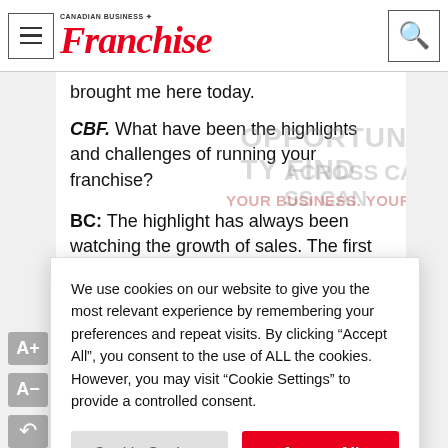Canadian Business Franchise — header with hamburger menu and search button
brought me here today.
CBF. What have been the highlights and challenges of running your franchise?
BC: The highlight has always been watching the growth of sales. The first time I became number one in overall
We use cookies on our website to give you the most relevant experience by remembering your preferences and repeat visits. By clicking "Accept All", you consent to the use of ALL the cookies. However, you may visit "Cookie Settings" to provide a controlled consent.
Cookie Settings
Accept All